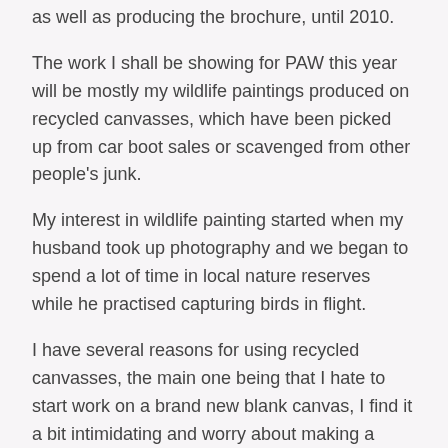as well as producing the brochure, until 2010.
The work I shall be showing for PAW this year will be mostly my wildlife paintings produced on recycled canvasses, which have been picked up from car boot sales or scavenged from other people's junk.
My interest in wildlife painting started when my husband took up photography and we began to spend a lot of time in local nature reserves while he practised capturing birds in flight.
I have several reasons for using recycled canvasses, the main one being that I hate to start work on a brand new blank canvas, I find it a bit intimidating and worry about making a wrong mark or spoiling the surface. Whereas the used canvas is already marked and often has a unique surface texture, which I love! I like to allow parts of the original image to show through within the finished piece, giving the work a character it would not have if it been done on a new canvas.